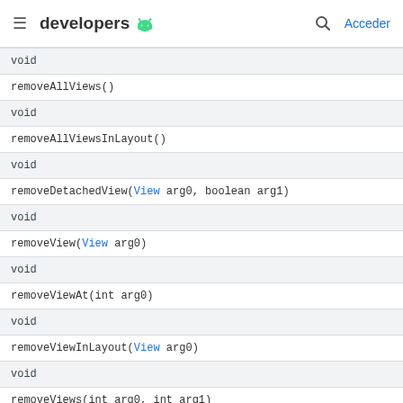developers [android logo] Acceder
| void |
| removeAllViews() |
| void |
| removeAllViewsInLayout() |
| void |
| removeDetachedView(View arg0, boolean arg1) |
| void |
| removeView(View arg0) |
| void |
| removeViewAt(int arg0) |
| void |
| removeViewInLayout(View arg0) |
| void |
| removeViews(int arg0, int arg1) |